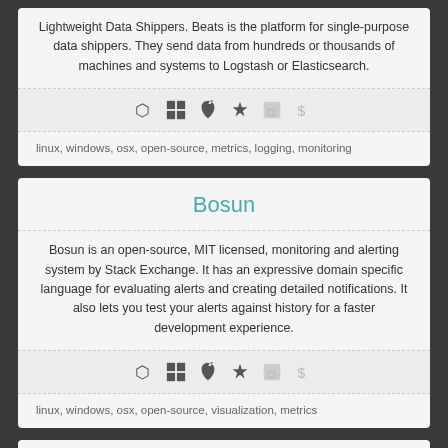Lightweight Data Shippers. Beats is the platform for single-purpose data shippers. They send data from hundreds or thousands of machines and systems to Logstash or Elasticsearch.
[Figure (infographic): Row of icons: Linux, Windows, Apple, and three other platform/pricing icons (two faded)]
linux, windows, osx, open-source, metrics, logging, monitoring
Bosun
Bosun is an open-source, MIT licensed, monitoring and alerting system by Stack Exchange. It has an expressive domain specific language for evaluating alerts and creating detailed notifications. It also lets you test your alerts against history for a faster development experience.
[Figure (infographic): Row of icons: Linux, Windows, Apple, and three other platform/pricing icons (two faded)]
linux, windows, osx, open-source, visualization, metrics
bugsnag